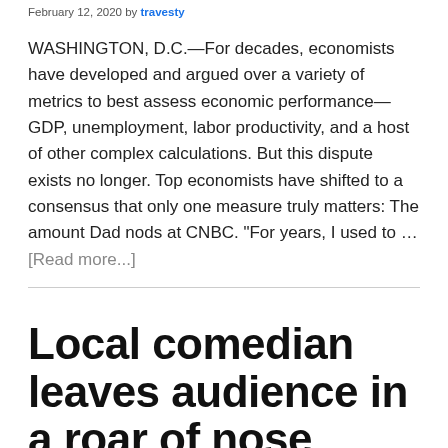February 12, 2020 by travesty
WASHINGTON, D.C.—For decades, economists have developed and argued over a variety of metrics to best assess economic performance—GDP, unemployment, labor productivity, and a host of other complex calculations. But this dispute exists no longer. Top economists have shifted to a consensus that only one measure truly matters: The amount Dad nods at CNBC. "For years, I used to … [Read more...]
Local comedian leaves audience in a roar of nose exhales